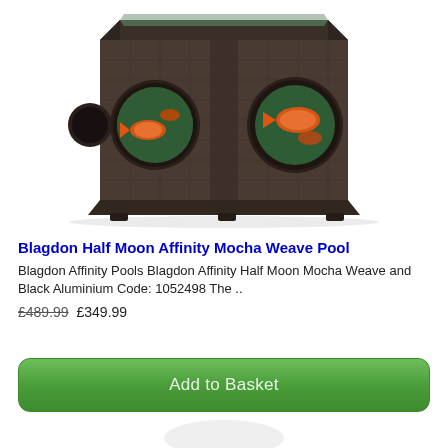[Figure (photo): Blagdon Half Moon Affinity Mocha Weave Pool fish tank/pond product photo. A dark brown hexagonal raised pond with wicker-weave texture on the sides, featuring circular porthole windows showing orange goldfish swimming inside. The unit is photographed against a white background at a 3/4 angle.]
Blagdon Half Moon Affinity Mocha Weave Pool
Blagdon Affinity Pools Blagdon Affinity Half Moon Mocha Weave and Black Aluminium Code: 1052498 The ..
£489.99 £349.99
Add to Basket